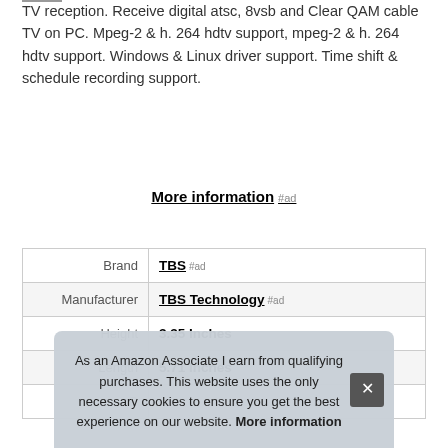TV reception. Receive digital atsc, 8vsb and Clear QAM cable TV on PC. Mpeg-2 & h. 264 hdtv support, mpeg-2 & h. 264 hdtv support. Windows & Linux driver support. Time shift & schedule recording support.
More information #ad
|  |  |
| --- | --- |
| Brand | TBS #ad |
| Manufacturer | TBS Technology #ad |
| Height | 3.35 Inches |
| Length | 5.71 Inches |
| P |  |
As an Amazon Associate I earn from qualifying purchases. This website uses the only necessary cookies to ensure you get the best experience on our website. More information